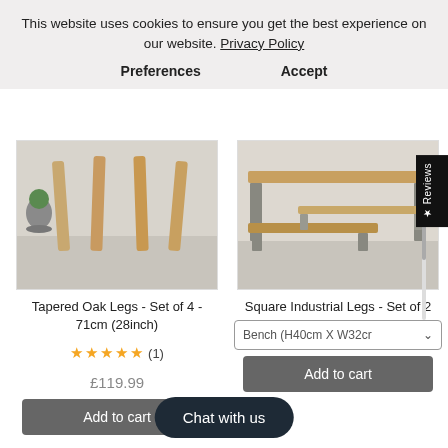This website uses cookies to ensure you get the best experience on our website. Privacy Policy
Preferences
Accept
[Figure (photo): Close-up of tapered oak table legs on a light grey floor with a plant in background]
[Figure (photo): Dining table with square industrial metal legs and matching bench on a light floor]
Tapered Oak Legs - Set of 4 - 71cm (28inch)
Square Industrial Legs - Set of 2
★★★★★ (1)
Bench (H40cm X W32cm
£119.99
Add to cart
Add to cart
Chat with us